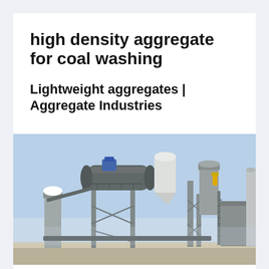high density aggregate for coal washing
Lightweight aggregates | Aggregate Industries
[Figure (photo): Industrial aggregate processing plant with large cylindrical drum mixer, silos, conveyors, and steel support structures against a light blue sky]